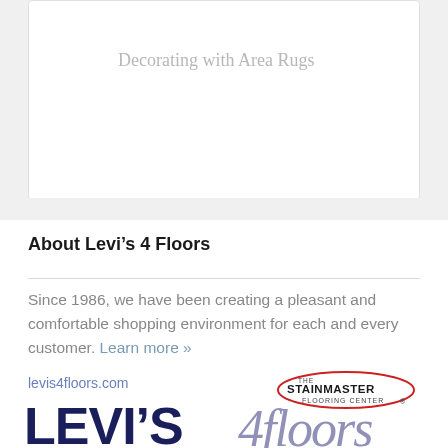Decorating with Area Rugs
About Levi’s 4 Floors
Since 1986, we have been creating a pleasant and comfortable shopping environment for each and every customer. Learn more »
[Figure (logo): Levi's 4 Floors logo with levis4floors.com text and Stainmaster Flooring Center badge]